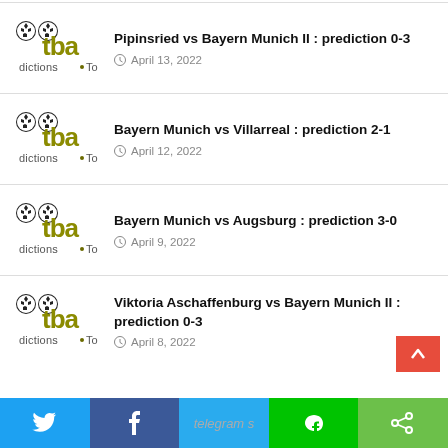Pipinsried vs Bayern Munich II : prediction 0-3 — April 13, 2022
Bayern Munich vs Villarreal : prediction 2-1 — April 12, 2022
Bayern Munich vs Augsburg : prediction 3-0 — April 9, 2022
Viktoria Aschaffenburg vs Bayern Munich II : prediction 0-3 — April 8, 2022
Twitter | Facebook | Telegram | Line | Share